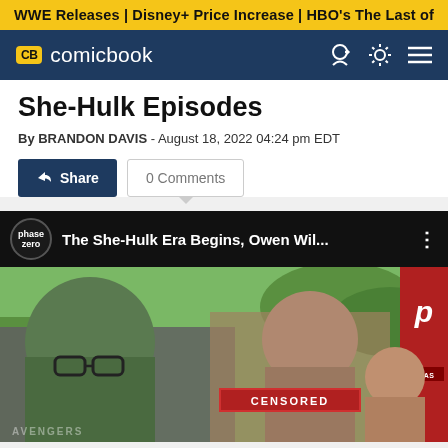WWE Releases | Disney+ Price Increase | HBO's The Last of
CB comicbook
She-Hulk Episodes
By BRANDON DAVIS - August 18, 2022 04:24 pm EDT
Share   0 Comments
[Figure (screenshot): YouTube-style video embed showing 'The She-Hulk Era Begins, Owen Wil...' with Phase Zero logo, and a thumbnail featuring Hulk and other Marvel characters with a CENSORED label]